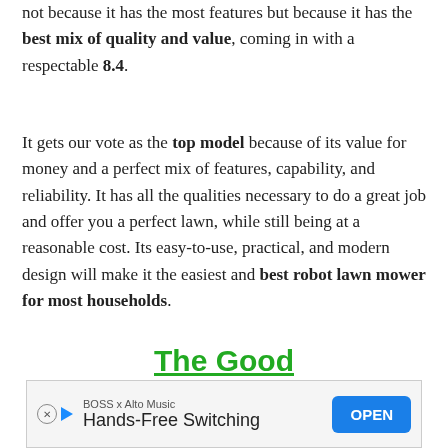not because it has the most features but because it has the best mix of quality and value, coming in with a respectable 8.4.
It gets our vote as the top model because of its value for money and a perfect mix of features, capability, and reliability. It has all the qualities necessary to do a great job and offer you a perfect lawn, while still being at a reasonable cost. Its easy-to-use, practical, and modern design will make it the easiest and best robot lawn mower for most households.
The Good
[Figure (other): Advertisement banner: BOSS x Alto Music - Hands-Free Switching with an OPEN button]